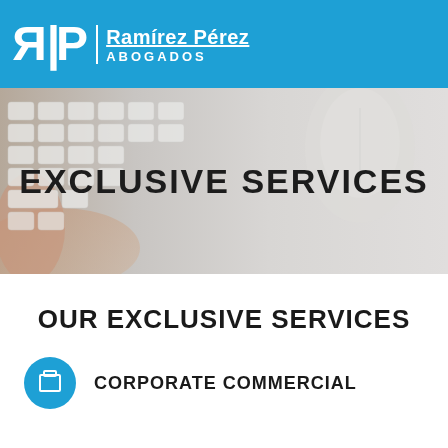Ramírez Pérez Abogados — logo header
[Figure (photo): Photo of a person's hand typing on a white keyboard with a white computer mouse, light grey background, overlaid with large bold text EXCLUSIVE SERVICES]
EXCLUSIVE SERVICES
OUR EXCLUSIVE SERVICES
CORPORATE COMMERCIAL